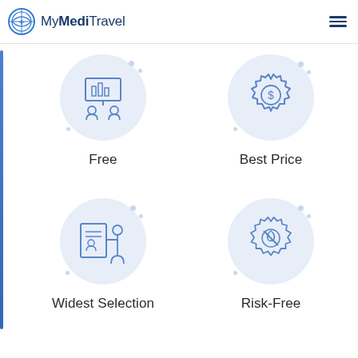MyMediTravel
[Figure (illustration): Icon of two people with a presentation board — Free service icon]
Free
[Figure (illustration): Icon of a medal/award with dollar sign — Best Price icon]
Best Price
[Figure (illustration): Icon of a person pointing at a document with another person — Widest Selection icon]
Widest Selection
[Figure (illustration): Icon of a gear with a flame and no-sign — Risk-Free icon]
Risk-Free